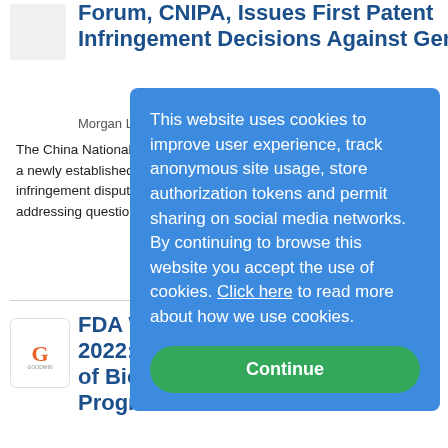Forum, CNIPA, Issues First Patent Infringement Decisions Against Generic
Morgan Lewis on 8/24/2022
The China National Intellec... a newly established adminis... infringement disputes, recer... addressing questions many c...
FDA Workshop c... 2022: Increasing... of Biosimilar De... Programs
Goodwin on 8/24/2022
The FDA is hosting a virtua... September 19, 2022 on "Inc... Biosimilar Development Pr... focus on comparative clinical studies and "discuss
This website uses cookies to improve user experience, track anonymous site usage, store authorization tokens and permit sharing on social media networks. By continuing to browse this website you accept the use of cookies. Click here to read more about how we use cookies.
Continue